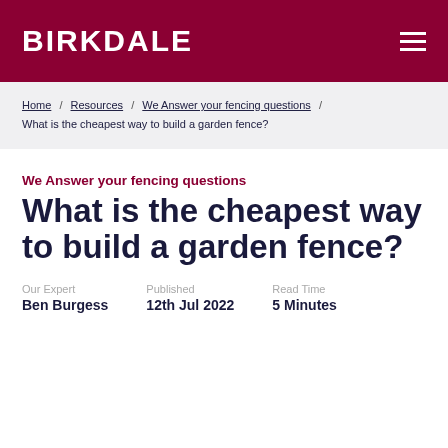BIRKDALE
Home / Resources / We Answer your fencing questions / What is the cheapest way to build a garden fence?
We Answer your fencing questions
What is the cheapest way to build a garden fence?
Our Expert: Ben Burgess | Published: 12th Jul 2022 | Read Time: 5 Minutes